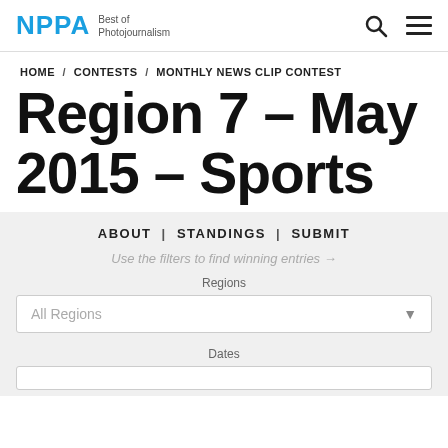NPPA Best of Photojournalism
HOME / CONTESTS / MONTHLY NEWS CLIP CONTEST
Region 7 – May 2015 – Sports
ABOUT | STANDINGS | SUBMIT
Use the filters to find winning entries →
Regions
All Regions
Dates